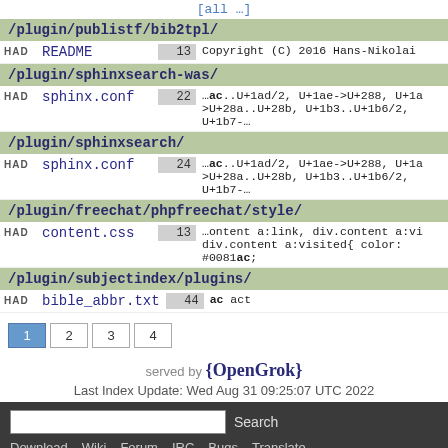[all …]
/plugin/publistf/bib2tpl/
HAD README 13 Copyright (C) 2016 Hans-Nikolai
/plugin/sphinxsearch-was/
HAD sphinx.conf 22 …ac..U+1ad/2, U+1ae->U+288, U+1a >U+28a..U+28b, U+1b3..U+1b6/2, U+1b7-…
/plugin/sphinxsearch/
HAD sphinx.conf 24 …ac..U+1ad/2, U+1ae->U+288, U+1a >U+28a..U+28b, U+1b3..U+1b6/2, U+1b7-…
/plugin/freechat/phpfreechat/style/
HAD content.css 13 …ontent a:link, div.content a:vi div.content a:visited{ color: #0081ac;
/plugin/subjectindex/plugins/
HAD bible_abbr.txt 44 ac act
1 2 3 4
served by {OpenGrok}
Last Index Update: Wed Aug 31 09:25:07 UTC 2022
Search Download Wiki Forum IRC Bugs Translate Git XRef Code Search